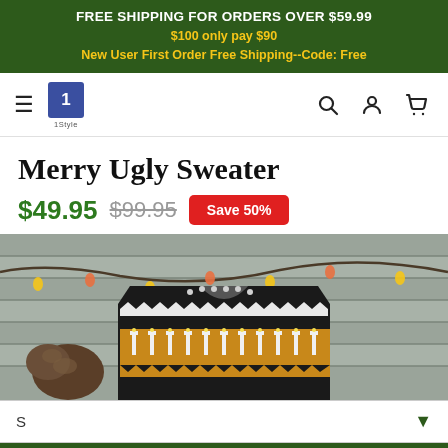FREE SHIPPING FOR ORDERS OVER $59.99
$100 only pay $90
New User First Order Free Shipping--Code: Free
[Figure (logo): Navigation bar with hamburger menu, store logo (blue square with number 1), search icon, user icon, and cart icon]
Merry Ugly Sweater
$49.95  $99.95  Save 50%
[Figure (photo): Photo of a Merry Ugly Sweater displayed flat against a rustic wooden background with Christmas lights and pine cones. The sweater is black with white and gold/yellow zigzag and candle patterns.]
S
ADD TO CART